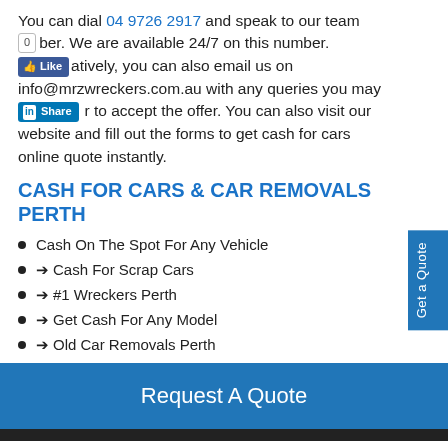You can dial 04 9726 2917 and speak to our team member. We are available 24/7 on this number. Alternatively, you can also email us on info@mrzwreckers.com.au with any queries you may have or to accept the offer. You can also visit our website and fill out the forms to get cash for cars online quote instantly.
CASH FOR CARS & CAR REMOVALS PERTH
Cash On The Spot For Any Vehicle
➔ Cash For Scrap Cars
➔ #1 Wreckers Perth
➔ Get Cash For Any Model
➔ Old Car Removals Perth
Request A Quote